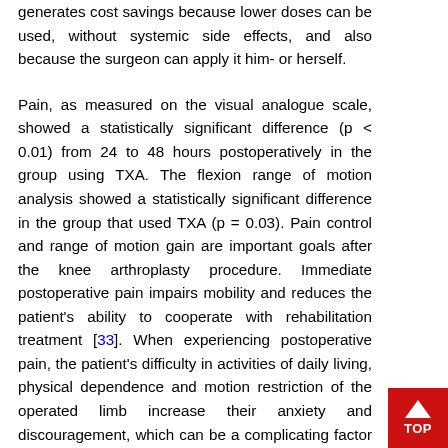generates cost savings because lower doses can be used, without systemic side effects, and also because the surgeon can apply it him- or herself.
Pain, as measured on the visual analogue scale, showed a statistically significant difference (p < 0.01) from 24 to 48 hours postoperatively in the group using TXA. The flexion range of motion analysis showed a statistically significant difference in the group that used TXA (p = 0.03). Pain control and range of motion gain are important goals after the knee arthroplasty procedure. Immediate postoperative pain impairs mobility and reduces the patient's ability to cooperate with rehabilitation treatment [33]. When experiencing postoperative pain, the patient's difficulty in activities of daily living, physical dependence and motion restriction of the operated limb increase their anxiety and discouragement, which can be a complicating factor in the rehabilitation